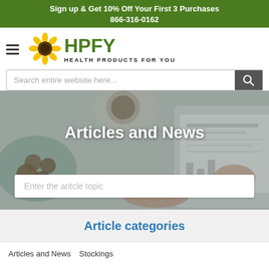Sign up & Get 10% Off Your First 3 Purchases
866-316-0162
[Figure (logo): HPFY Health Products For You logo with sunflower icon]
Search entire website here...
[Figure (photo): Background photo showing hands holding a tablet/newspaper, coffee cup, and cookies on a table]
Articles and News
Enter the aritcle topic
Article categories
Articles and News
Stockings